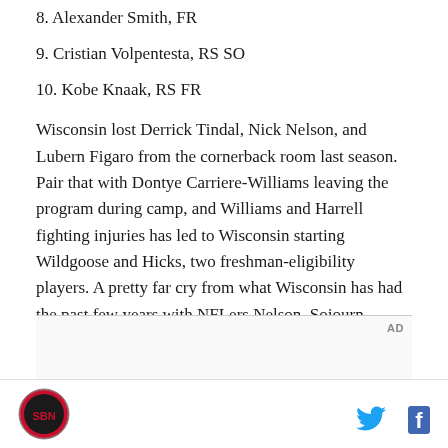8. Alexander Smith, FR
9. Cristian Volpentesta, RS SO
10. Kobe Knaak, RS FR
Wisconsin lost Derrick Tindal, Nick Nelson, and Lubern Figaro from the cornerback room last season. Pair that with Dontye Carriere-Williams leaving the program during camp, and Williams and Harrell fighting injuries has led to Wisconsin starting Wildgoose and Hicks, two freshman-eligibility players. A pretty far cry from what Wisconsin has had the past few years with NFLers Nelson, Sojourn Shelton, and Darius Hillary.
[Figure (logo): SB Nation or team logo — circular badge with red and black design in page footer]
[Figure (other): Social media icons: Twitter bird (blue) and Facebook f (dark blue)]